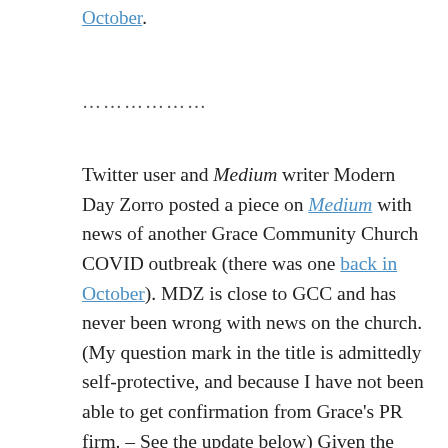October.
………………
Twitter user and Medium writer Modern Day Zorro posted a piece on Medium with news of another Grace Community Church COVID outbreak (there was one back in October). MDZ is close to GCC and has never been wrong with news on the church. (My question mark in the title is admittedly self-protective, and because I have not been able to get confirmation from Grace's PR firm. – See the update below) Given the lack of mitigation measures and the ignorance about COVID which have been apparent at Grace, I don't doubt the report. However, if corrections or modifications are